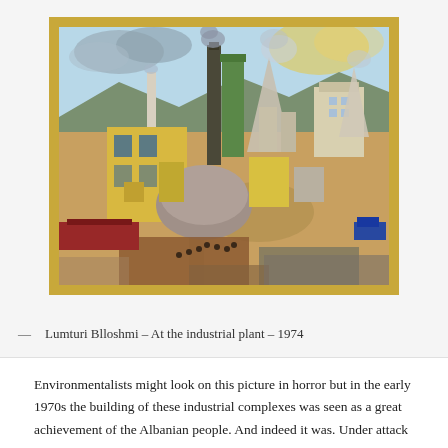[Figure (illustration): A painting by Lumturi Blloshmi titled 'At the industrial plant – 1974'. The painting depicts an aerial view of a large industrial complex with yellow buildings, cooling towers, smokestacks emitting smoke, and workers visible in the foreground. The scene is rendered in a colorful realist style typical of socialist art. The painting is displayed in a gold/yellow wooden frame against a light gray wall.]
— Lumturi Blloshmi – At the industrial plant – 1974
Environmentalists might look on this picture in horror but in the early 1970s the building of these industrial complexes was seen as a great achievement of the Albanian people. And indeed it was. Under attack from the very first days of the revolution, especially by the British, it was crucial that the Albanian people